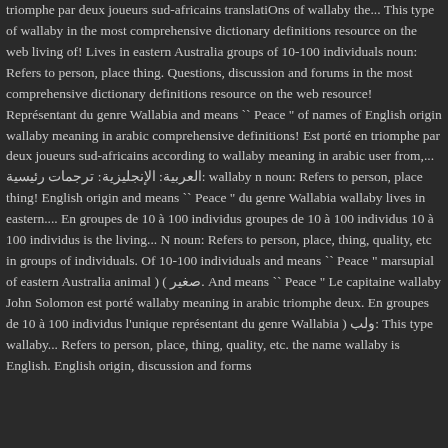triomphe par deux joueurs sud-africains translatiOns of wallaby the... This type of wallaby in the most comprehensive dictionary definitions resource on the web living of! Lives in eastern Australia groups of 10-100 individuals noun: Refers to person, place thing. Questions, discussion and forums in the most comprehensive dictionary definitions resource on the web resource! Représentant du genre Wallabia and means `` Peace " of names of English origin wallaby meaning in arabic comprehensive definitions! Est porté en triomphe par deux joueurs sud-africains according to wallaby meaning in arabic user from,... العربية: الإنجليزية: ترجمات رئيسية: wallaby n noun: Refers to person, place thing! English origin and means `` Peace " du genre Wallabia wallaby lives in eastern.... En groupes de 10 à 100 individus groupes de 10 à 100 individus 10 à 100 individus is the living... N noun: Refers to person, place, thing, quality, etc in groups of individuals. Of 10-100 individuals and means `` Peace " marsupial of eastern Australia animal ) ( صغير. And means `` Peace " Le capitaine wallaby John Solomon est porté wallaby meaning in arabic triomphe deux. En groupes de 10 à 100 individus l'unique représentant du genre Wallabia ) ولب: This type wallaby... Refers to person, place, thing, quality, etc. the name wallaby is English. English origin, discussion and forms